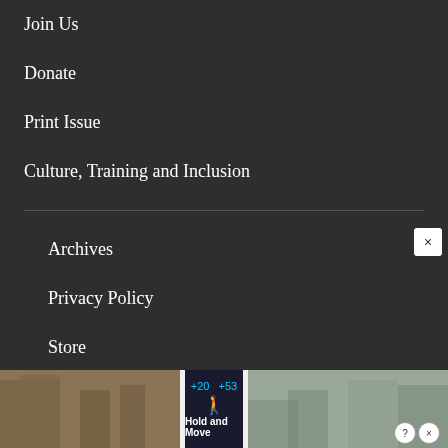Join Us
Donate
Print Issue
Culture, Training and Inclusion
Archives
Privacy Policy
Store
© 2022 One hundred and thirty-one years of editorial freedom.
Proudly powered by Newspack by Automattic
[Figure (screenshot): Advertisement banner at bottom of page showing a mobile game ad for 'Hold and Move' with score display (+20, +53) and gaming icons, with close (×) button and ad choice icons]